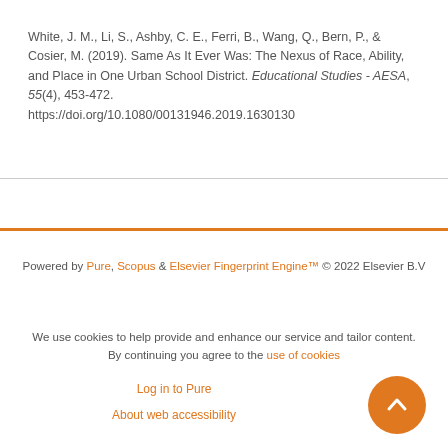White, J. M., Li, S., Ashby, C. E., Ferri, B., Wang, Q., Bern, P., & Cosier, M. (2019). Same As It Ever Was: The Nexus of Race, Ability, and Place in One Urban School District. Educational Studies - AESA, 55(4), 453-472. https://doi.org/10.1080/00131946.2019.1630130
Powered by Pure, Scopus & Elsevier Fingerprint Engine™ © 2022 Elsevier B.V
We use cookies to help provide and enhance our service and tailor content. By continuing you agree to the use of cookies
Log in to Pure
About web accessibility